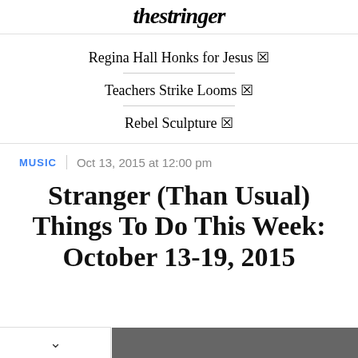thestringer
Regina Hall Honks for Jesus 🔗
Teachers Strike Looms 🔗
Rebel Sculpture 🔗
MUSIC  |  Oct 13, 2015 at 12:00 pm
Stranger (Than Usual) Things To Do This Week: October 13-19, 2015